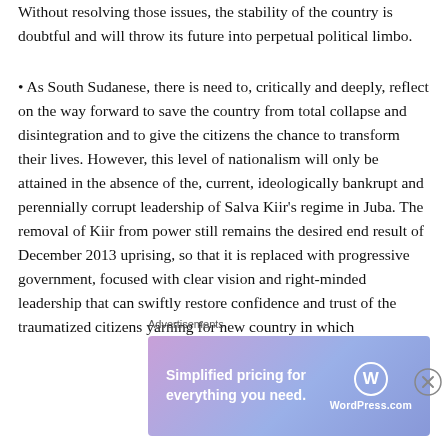Without resolving those issues, the stability of the country is doubtful and will throw its future into perpetual political limbo.
• As South Sudanese, there is need to, critically and deeply, reflect on the way forward to save the country from total collapse and disintegration and to give the citizens the chance to transform their lives. However, this level of nationalism will only be attained in the absence of the, current, ideologically bankrupt and perennially corrupt leadership of Salva Kiir's regime in Juba. The removal of Kiir from power still remains the desired end result of December 2013 uprising, so that it is replaced with progressive government, focused with clear vision and right-minded leadership that can swiftly restore confidence and trust of the traumatized citizens yarning for new country in which
Advertisements
[Figure (other): WordPress.com advertisement banner: 'Simplified pricing for everything you need.' with WordPress.com logo on a purple-blue gradient background.]